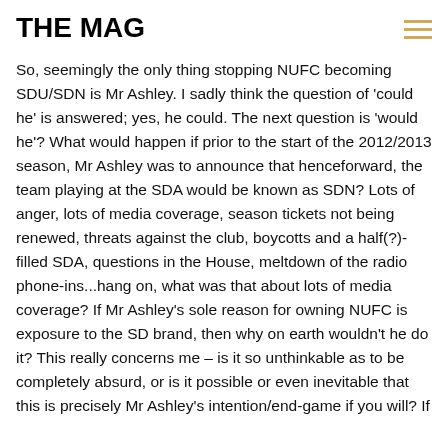THE MAG
So, seemingly the only thing stopping NUFC becoming SDU/SDN is Mr Ashley. I sadly think the question of 'could he' is answered; yes, he could. The next question is 'would he'? What would happen if prior to the start of the 2012/2013 season, Mr Ashley was to announce that henceforward, the team playing at the SDA would be known as SDN? Lots of anger, lots of media coverage, season tickets not being renewed, threats against the club, boycotts and a half(?)-filled SDA, questions in the House, meltdown of the radio phone-ins...hang on, what was that about lots of media coverage? If Mr Ashley's sole reason for owning NUFC is exposure to the SD brand, then why on earth wouldn't he do it? This really concerns me – is it so unthinkable as to be completely absurd, or is it possible or even inevitable that this is precisely Mr Ashley's intention/end-game if you will? If